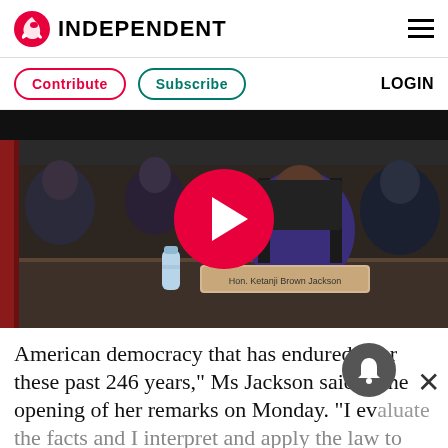INDEPENDENT
Contribute   Subscribe   LOGIN
[Figure (screenshot): Video thumbnail showing Hon. Ketanji Brown Jackson seated at a hearing table with a red play button overlay. A nameplate reading 'Hon. Ketanji Brown Jackson' is visible on the table.]
American democracy that has endured over these past 246 years,” Ms Jackson said at the opening of her remarks on Monday. “I evaluate the facts and I interpret and apply the law to